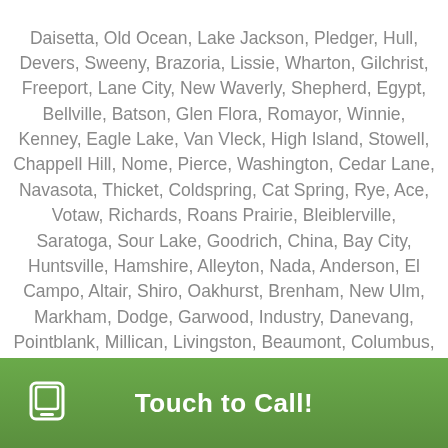Daisetta, Old Ocean, Lake Jackson, Pledger, Hull, Devers, Sweeny, Brazoria, Lissie, Wharton, Gilchrist, Freeport, Lane City, New Waverly, Shepherd, Egypt, Bellville, Batson, Glen Flora, Romayor, Winnie, Kenney, Eagle Lake, Van Vleck, High Island, Stowell, Chappell Hill, Nome, Pierce, Washington, Cedar Lane, Navasota, Thicket, Coldspring, Cat Spring, Rye, Ace, Votaw, Richards, Roans Prairie, Bleiblerville, Saratoga, Sour Lake, Goodrich, China, Bay City, Huntsville, Hamshire, Alleyton, Nada, Anderson, El Campo, Altair, Shiro, Oakhurst, Brenham, New Ulm, Markham, Dodge, Garwood, Industry, Danevang, Pointblank, Millican, Livingston, Beaumont, Columbus, Wadsworth, Glidden, Dallardsville, Rock Island, Kountze, Onalaska, Riverside, Midfield, Bedias, Wellborn, Elmaton, Village Mills, Louise, Leggett, Lumberton, Voth, Fayetteville, Sheridan, College Station, Blessing, Burton, Ellinger, Somerville, Round Top, Iola, Warren, Trinity, Warrenton, Matagorda, Nederland, Snook, Silsbee, Weimar, Carmine,
Touch to Call!